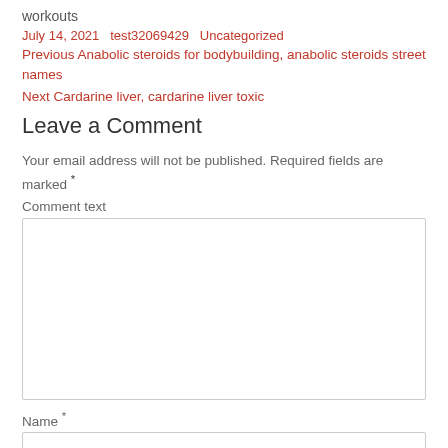workouts
July 14, 2021   test32069429   Uncategorized
Previous Anabolic steroids for bodybuilding, anabolic steroids street names
Next Cardarine liver, cardarine liver toxic
Leave a Comment
Your email address will not be published. Required fields are marked *
Comment text
Name *